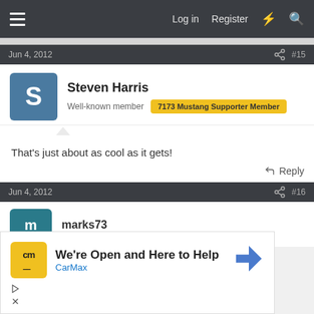Log in  Register
Jun 4, 2012  #15
Steven Harris
Well-known member  7173 Mustang Supporter Member
That's just about as cool as it gets!
Reply
Jun 4, 2012  #16
marks73
[Figure (infographic): CarMax advertisement: We're Open and Here to Help, CarMax brand logo in yellow/black with cm text, blue navigation arrow icon, ad controls with play and close icons.]